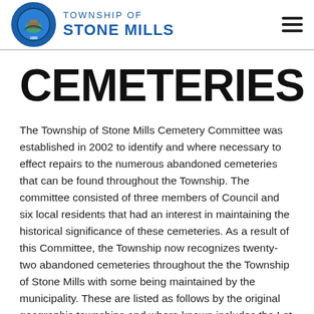TOWNSHIP OF STONE MILLS
CEMETERIES
The Township of Stone Mills Cemetery Committee was established in 2002 to identify and where necessary to effect repairs to the numerous abandoned cemeteries that can be found throughout the Township. The committee consisted of three members of Council and six local residents that had an interest in maintaining the historical significance of these cemeteries. As a result of this Committee, the Township now recognizes twenty-two abandoned cemeteries throughout the the Township of Stone Mills with some being maintained by the municipality. These are listed as follows by the original geographic townships and where known includes the Lot and Concession where the cemetery is located. In many